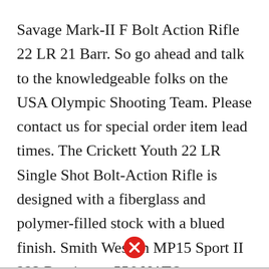Savage Mark-II F Bolt Action Rifle 22 LR 21 Barr. So go ahead and talk to the knowledgeable folks on the USA Olympic Shooting Team. Please contact us for special order item lead times. The Crickett Youth 22 LR Single Shot Bolt-Action Rifle is designed with a fiberglass and polymer-filled stock with a blued finish. Smith Wesson MP15 Sport II 223 Remington556 NATO Semiautomatic Rifle.
[Figure (other): Red circle with white X icon (close/error button)]